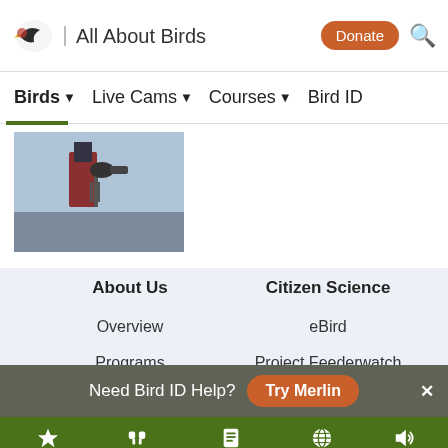All About Birds
Birds  Live Cams  Courses  Bird ID
[Figure (photo): Person photographing birds outdoors with camera equipment]
About Us
Overview
Programs
Visit the Lab
Job Opportunities
Citizen Science
eBird
Project Feederwatch
NestWatch
Celebrate Urban Birds
Need Bird ID Help? Try Merlin
Overview  ID info  Life History  Maps  Sounds